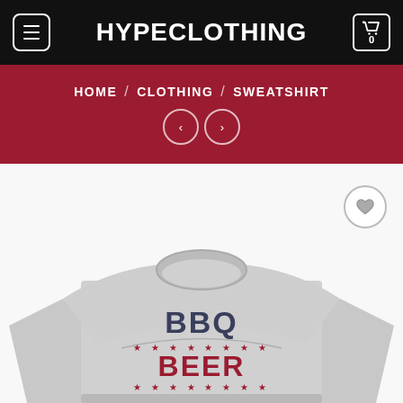HYPECLOTHING
HOME / CLOTHING / SWEATSHIRT
[Figure (photo): Gray crewneck sweatshirt with BBQ BEER text graphic printed on the chest, featuring star decorations around the lettering]